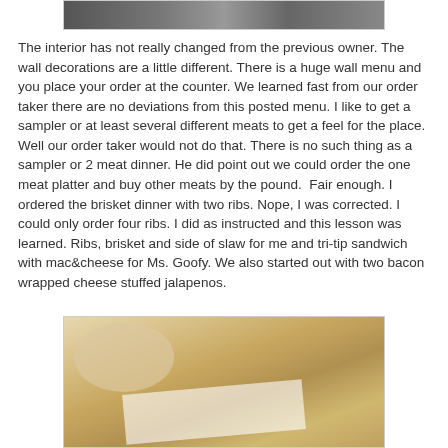[Figure (photo): Top portion of a restaurant interior photo, partially visible at top of page]
The interior has not really changed from the previous owner. The wall decorations are a little different. There is a huge wall menu and you place your order at the counter. We learned fast from our order taker there are no deviations from this posted menu. I like to get a sampler or at least several different meats to get a feel for the place. Well our order taker would not do that. There is no such thing as a sampler or 2 meat dinner. He did point out we could order the one meat platter and buy other meats by the pound.  Fair enough. I ordered the brisket dinner with two ribs. Nope, I was corrected. I could only order four ribs. I did as instructed and this lesson was learned. Ribs, brisket and side of slaw for me and tri-tip sandwich with mac&cheese for Ms. Goofy. We also started out with two bacon wrapped cheese stuffed jalapenos.
[Figure (photo): Photo of food on a wooden table — bowls of food and wrapped items on paper]